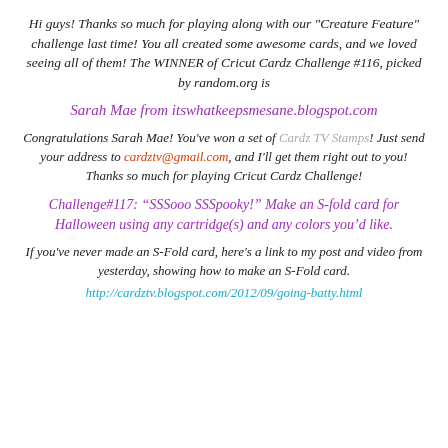Hi guys! Thanks so much for playing along with our "Creature Feature" challenge last time! You all created some awesome cards, and we loved seeing all of them! The WINNER of Cricut Cardz Challenge #116, picked by random.org is
Sarah Mae from itswhatkeepsmesane.blogspot.com
Congratulations Sarah Mae! You've won a set of Cardz TV Stamps! Just send your address to cardztv@gmail.com, and I'll get them right out to you! Thanks so much for playing Cricut Cardz Challenge!
Challenge#117: “SSSooo SSSpooky!” Make an S-fold card for Halloween using any cartridge(s) and any colors you’d like.
If you've never made an S-Fold card, here's a link to my post and video from yesterday, showing how to make an S-Fold card.
http://cardztv.blogspot.com/2012/09/going-batty.html